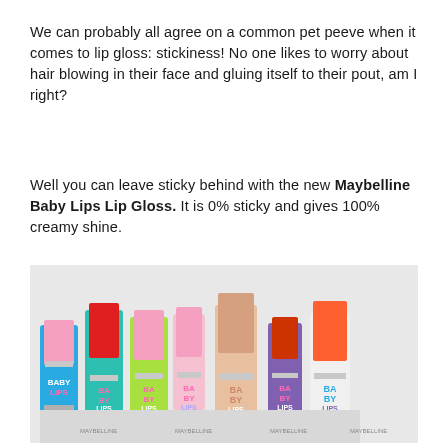We can probably all agree on a common pet peeve when it comes to lip gloss: stickiness!  No one likes to worry about hair blowing in their face and gluing itself to their pout, am  I right?
Well you can leave sticky behind with the new Maybelline Baby Lips Lip Gloss. It is 0% sticky and gives 100% creamy shine.
[Figure (photo): Photo of multiple Maybelline Baby Lips Lip Gloss tubes arranged side by side, showing various colors including pink, red, green, nude/peach, and orange caps with colorful 'BABY LIPS' branded packaging below.]